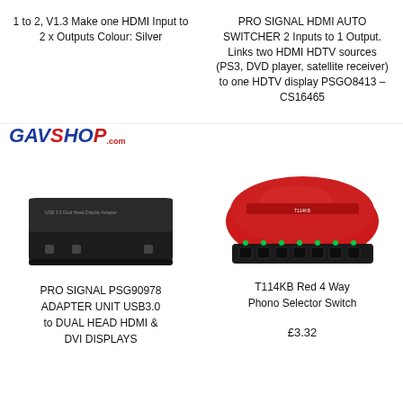1 to 2, V1.3 Make one HDMI Input to 2 x Outputs Colour: Silver
PRO SIGNAL HDMI AUTO SWITCHER 2 Inputs to 1 Output. Links two HDMI HDTV sources (PS3, DVD player, satellite receiver) to one HDTV display PSGO8413 – CS16465
[Figure (logo): GAVShop.com logo in blue and red italic text]
[Figure (photo): PRO SIGNAL PSG90978 USB 3.0 to Dual Head HDMI & DVI adapter unit, black rectangular device]
[Figure (photo): T114KB Red 4 Way Phono Selector Switch, red dome-shaped device with black ports]
PRO SIGNAL PSG90978 ADAPTER UNIT USB3.0 to DUAL HEAD HDMI & DVI DISPLAYS
T114KB Red 4 Way Phono Selector Switch
£3.32